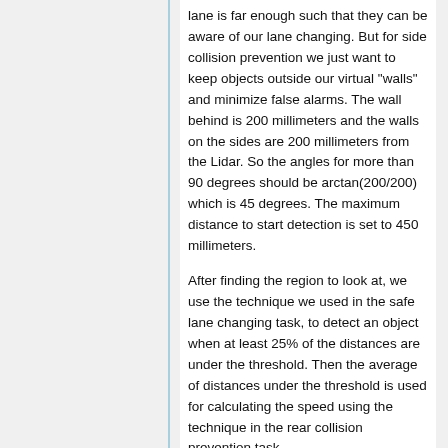lane is far enough such that they can be aware of our lane changing. But for side collision prevention we just want to keep objects outside our virtual "walls" and minimize false alarms. The wall behind is 200 millimeters and the walls on the sides are 200 millimeters from the Lidar. So the angles for more than 90 degrees should be arctan(200/200) which is 45 degrees. The maximum distance to start detection is set to 450 millimeters.
After finding the region to look at, we use the technique we used in the safe lane changing task, to detect an object when at least 25% of the distances are under the threshold. Then the average of distances under the threshold is used for calculating the speed using the technique in the rear collision prevention task.